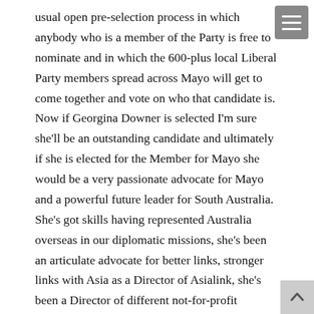usual open pre-selection process in which anybody who is a member of the Party is free to nominate and in which the 600-plus local Liberal Party members spread across Mayo will get to come together and vote on who that candidate is. Now if Georgina Downer is selected I'm sure she'll be an outstanding candidate and ultimately if she is elected for the Member for Mayo she would be a very passionate advocate for Mayo and a powerful future leader for South Australia. She's got skills having represented Australia overseas in our diplomatic missions, she's been an articulate advocate for better links, stronger links with Asia as a Director of Asialink, she's been a Director of different not-for-profit organisations in the arts sector and I think she'd have a lot to give.
Ali Clarke: But she doesn't live there and she hasn't worked there for quite a number of years, she was appointed to th—